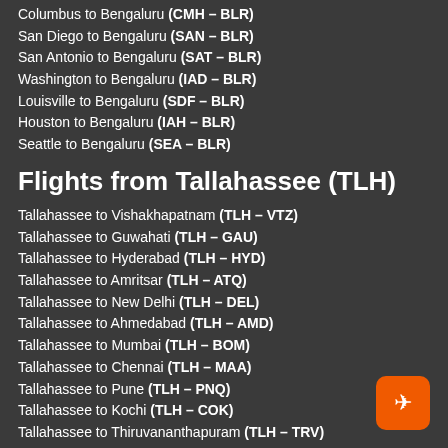Columbus to Bengaluru (CMH – BLR)
San Diego to Bengaluru (SAN – BLR)
San Antonio to Bengaluru (SAT – BLR)
Washington to Bengaluru (IAD – BLR)
Louisville to Bengaluru (SDF – BLR)
Houston to Bengaluru (IAH – BLR)
Seattle to Bengaluru (SEA – BLR)
Flights from Tallahassee (TLH)
Tallahassee to Vishakhapatnam (TLH – VTZ)
Tallahassee to Guwahati (TLH – GAU)
Tallahassee to Hyderabad (TLH – HYD)
Tallahassee to Amritsar (TLH – ATQ)
Tallahassee to New Delhi (TLH – DEL)
Tallahassee to Ahmedabad (TLH – AMD)
Tallahassee to Mumbai (TLH – BOM)
Tallahassee to Chennai (TLH – MAA)
Tallahassee to Pune (TLH – PNQ)
Tallahassee to Kochi (TLH – COK)
Tallahassee to Thiruvananthapuram (TLH – TRV)
Tallahassee to Kolkata (TLH – CCU)
Tallahassee to Bhubaneswar (TLH – BBI)